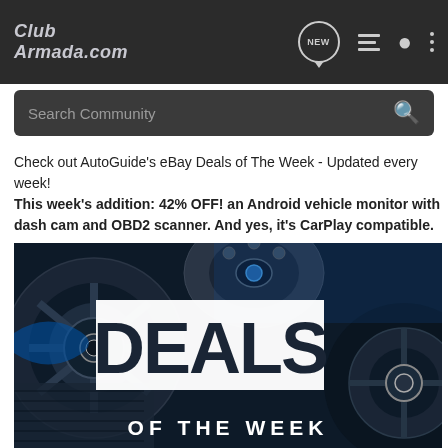ClubArmada.com
Search Community
Check out AutoGuide's eBay Deals of The Week - Updated every week!
This week's addition: 42% OFF! an Android vehicle monitor with dash cam and OBD2 scanner. And yes, it's CarPlay compatible.
[Figure (photo): Deals of the Week promotional banner showing car parts (wheels, rotors, tires) with a white box containing 'DEALS' in large bold text and 'OF THE WEEK' below in white letters on a dark automotive background]